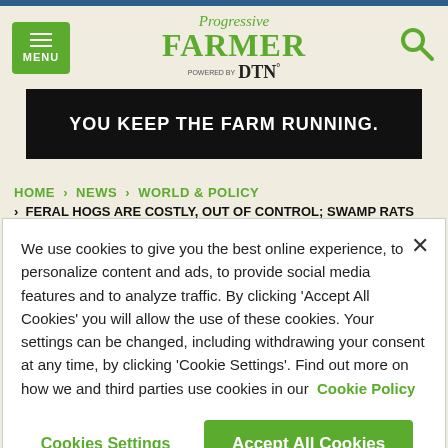Progressive FARMER powered by DTN
[Figure (screenshot): Advertisement banner: black background with white bold text 'YOU KEEP THE FARM RUNNING.']
HOME > NEWS > WORLD & POLICY > FERAL HOGS ARE COSTLY, OUT OF CONTROL; SWAMP RATS ALSO SPREADING
We use cookies to give you the best online experience, to personalize content and ads, to provide social media features and to analyze traffic. By clicking 'Accept All Cookies' you will allow the use of these cookies. Your settings can be changed, including withdrawing your consent at any time, by clicking 'Cookie Settings'. Find out more on how we and third parties use cookies in our Cookie Policy
Cookies Settings | Accept All Cookies